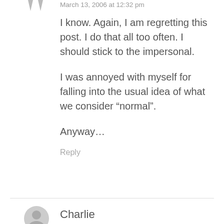[Figure (illustration): Gray avatar/user icon with quotation mark style arrows pointing down, top left area]
March 13, 2006 at 12:32 pm
I know. Again, I am regretting this post. I do that all too often. I should stick to the impersonal.
I was annoyed with myself for falling into the usual idea of what we consider “normal”.
Anyway…
Reply
[Figure (illustration): Gray circular avatar icon for user Charlie]
Charlie
March 13, 2006 at 12:32 pm